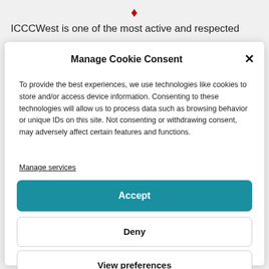ICCCWest is one of the most active and respected
Manage Cookie Consent
To provide the best experiences, we use technologies like cookies to store and/or access device information. Consenting to these technologies will allow us to process data such as browsing behavior or unique IDs on this site. Not consenting or withdrawing consent, may adversely affect certain features and functions.
Manage services
Accept
Deny
View preferences
Cookie Policy   Privacy Policy – Terms of Service